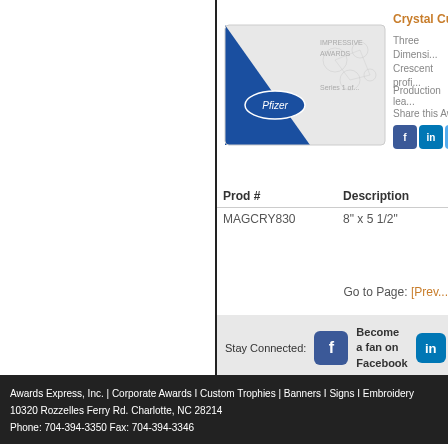[Figure (photo): Crystal Curve award with blue diagonal design and Pfizer branding on a white rectangular plaque]
Crystal Curve
Three Dimensi... Crescent profi...
Production lea...
Share this Awa...
| Prod # | Description |
| --- | --- |
| MAGCRY830 | 8" x 5 1/2" |
Go to Page: [Prev...
Stay Connected: Become a fan on Facebook
Awards Express, Inc. | Corporate Awards I Custom Trophies | Banners I Signs I Embroidery
10320 Rozzelles Ferry Rd. Charlotte, NC 28214
Phone: 704-394-3350 Fax: 704-394-3346